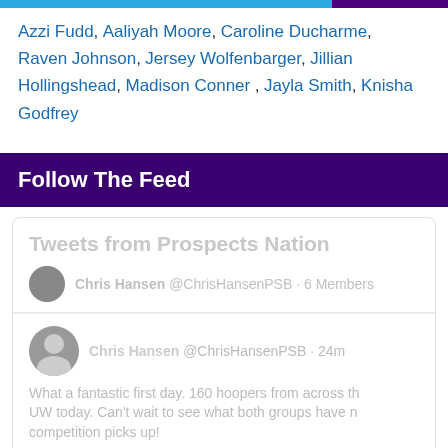Azzi Fudd, Aaliyah Moore, Caroline Ducharme, Raven Johnson, Jersey Wolfenbarger, Jillian Hollingshead, Madison Conner , Jayla Smith, Knisha Godfrey
Follow The Feed
[Figure (screenshot): Twitter/X embedded widget showing 'Tweets from Prospects Nation' list, by @ChrisHansenPSB with 6 Members. A tweet from Chris Hansen @ChrisHansenPSB 24m ago reads: 'What a fantastic first day. 160 hoopers from across th... UW today. Can't wait to see what both groups have n... competition picks up!' with hashtags #ELITEisEARNED and #CMOSeattle, followed by a partial image strip.]